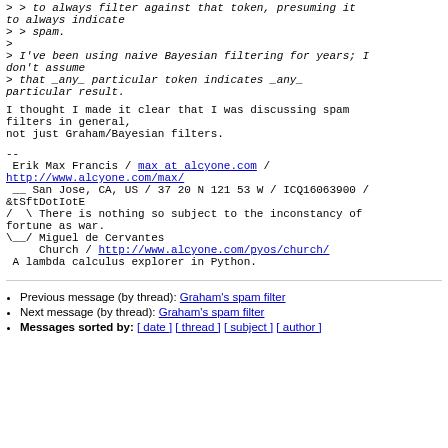> > to always filter against that token, presuming it to always indicate
> > spam.
>
> I've been using naive Bayesian filtering for years; I don't assume
> that _any_ particular token indicates _any_ particular result.
I thought I made it clear that I was discussing spam filters in general,
not just Graham/Bayesian filters.
--
 Erik Max Francis / max at alcyone.com /
http://www.alcyone.com/max/
 __ San Jose, CA, US / 37 20 N 121 53 W / ICQ16063900 /
&tSftDotIotE
/  \ There is nothing so subject to the inconstancy of fortune as war.
\__/ Miguel de Cervantes
     Church / http://www.alcyone.com/pyos/church/
 A lambda calculus explorer in Python.
Previous message (by thread): Graham's spam filter
Next message (by thread): Graham's spam filter
Messages sorted by: [ date ] [ thread ] [ subject ] [ author ]